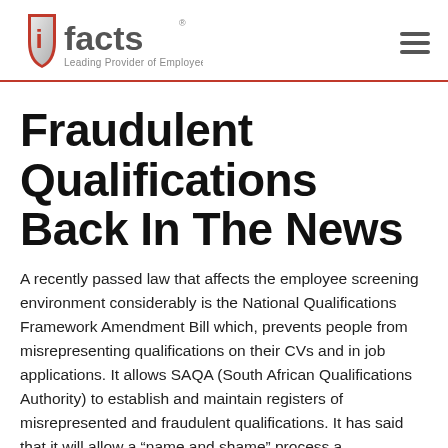ifacts — Leading Provider of Employee Screening Services
Fraudulent Qualifications Back In The News
A recently passed law that affects the employee screening environment considerably is the National Qualifications Framework Amendment Bill which, prevents people from misrepresenting qualifications on their CVs and in job applications. It allows SAQA (South African Qualifications Authority) to establish and maintain registers of misrepresented and fraudulent qualifications. It has said that it will allow a "name and shame" process a...